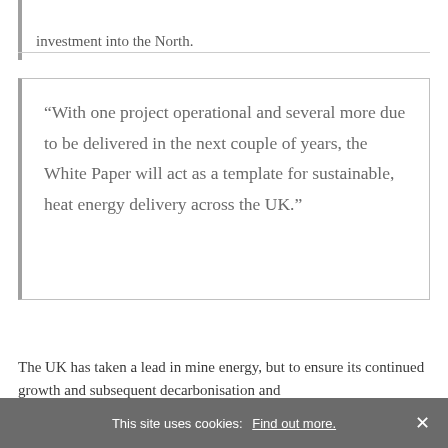investment into the North.
“With one project operational and several more due to be delivered in the next couple of years, the White Paper will act as a template for sustainable, heat energy delivery across the UK.”
The UK has taken a lead in mine energy, but to ensure its continued growth and subsequent decarbonisation and
This site uses cookies: Find out more. ×